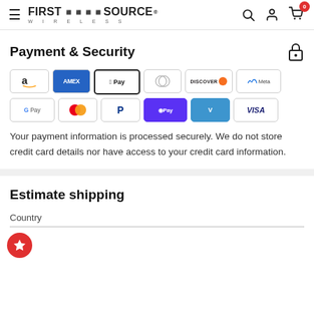First Source Wireless — navigation header with search, account, cart (0)
Payment & Security
[Figure (other): Payment method icons: Amazon, Amex, Apple Pay, Diners Club, Discover, Meta Pay, Google Pay, Mastercard, PayPal, Shop Pay, Venmo, Visa]
Your payment information is processed securely. We do not store credit card details nor have access to your credit card information.
Estimate shipping
Country